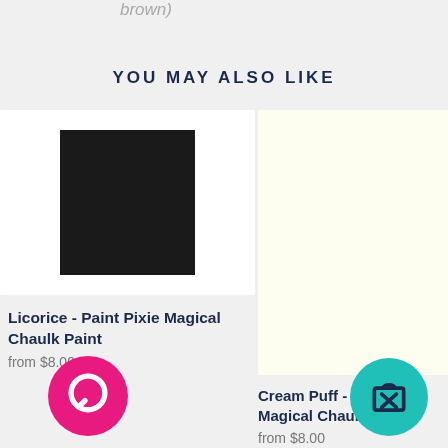brown)
YOU MAY ALSO LIKE
[Figure (photo): Black paint swatch square on white background — product image for Licorice chalk paint]
Licorice - Paint Pixie Magical Chaulk Paint
from $8.00
[Figure (photo): Cream/off-white color swatch on light background — product image for Cream Puff chalk paint]
Cream Puff - Paint Pixie Magical Chaulk
from $8.00